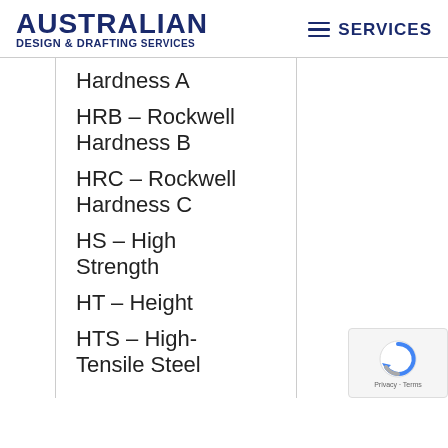AUSTRALIAN DESIGN & DRAFTING SERVICES | SERVICES
Hardness A
HRB – Rockwell Hardness B
HRC – Rockwell Hardness C
HS – High Strength
HT – Height
HTS – High-Tensile Steel